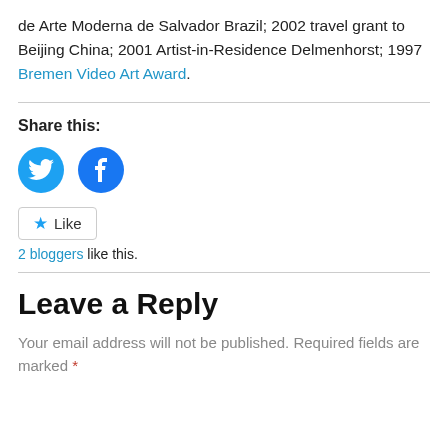de Arte Moderna de Salvador Brazil; 2002 travel grant to Beijing China; 2001 Artist-in-Residence Delmenhorst; 1997 Bremen Video Art Award.
Share this:
[Figure (other): Two circular social media share buttons: Twitter (blue bird icon) and Facebook (blue f icon)]
Like  2 bloggers like this.
Leave a Reply
Your email address will not be published. Required fields are marked *